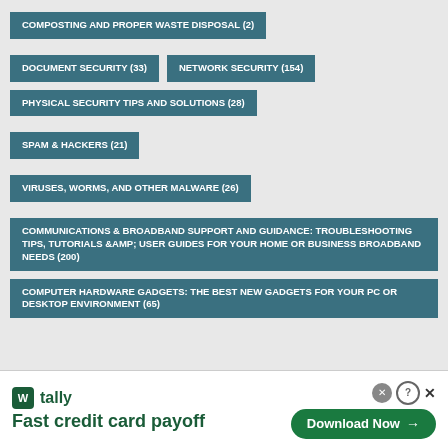COMPOSTING AND PROPER WASTE DISPOSAL (2)
DOCUMENT SECURITY (33)
NETWORK SECURITY (154)
PHYSICAL SECURITY TIPS AND SOLUTIONS (28)
SPAM & HACKERS (21)
VIRUSES, WORMS, AND OTHER MALWARE (26)
COMMUNICATIONS & BROADBAND SUPPORT AND GUIDANCE: TROUBLESHOOTING TIPS, TUTORIALS &AMP; USER GUIDES FOR YOUR HOME OR BUSINESS BROADBAND NEEDS (200)
COMPUTER HARDWARE GADGETS: THE BEST NEW GADGETS FOR YOUR PC OR DESKTOP ENVIRONMENT (65)
[Figure (infographic): Advertisement banner for Tally app — Fast credit card payoff, with Download Now button]